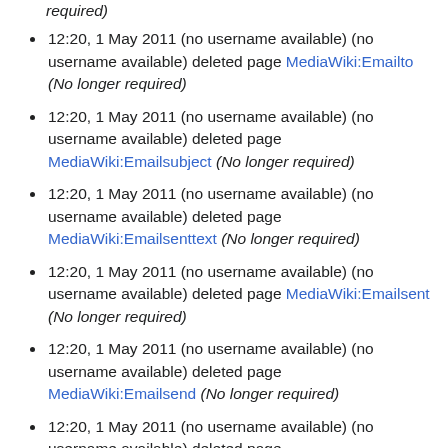(No longer required)
12:20, 1 May 2011 (no username available) (no username available) deleted page MediaWiki:Emailto (No longer required)
12:20, 1 May 2011 (no username available) (no username available) deleted page MediaWiki:Emailsubject (No longer required)
12:20, 1 May 2011 (no username available) (no username available) deleted page MediaWiki:Emailsenttext (No longer required)
12:20, 1 May 2011 (no username available) (no username available) deleted page MediaWiki:Emailsent (No longer required)
12:20, 1 May 2011 (no username available) (no username available) deleted page MediaWiki:Emailsend (No longer required)
12:20, 1 May 2011 (no username available) (no username available) deleted page MediaWiki:Emailpagetext (No longer required)
12:20, 1 May 2011 (no username available) (no username...